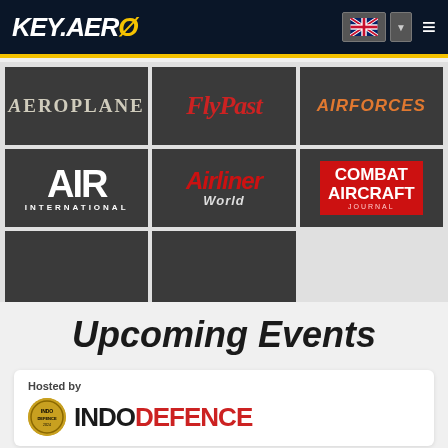KEY.AERO
[Figure (logo): Aeroplane magazine logo - white serif text on dark grey background]
[Figure (logo): FlyPast magazine logo - red italic serif text on dark grey background]
[Figure (logo): AIRFORCES magazine logo - orange bold text on dark grey background]
[Figure (logo): AIR INTERNATIONAL magazine logo - large white bold text on dark grey background]
[Figure (logo): Airliner World magazine logo - red italic bold text on dark grey background]
[Figure (logo): COMBAT AIRCRAFT JOURNAL magazine logo - white bold text on red rectangle on dark grey background]
[Figure (illustration): Empty dark grey tile placeholder]
[Figure (illustration): Empty dark grey tile placeholder]
Upcoming Events
Hosted by
[Figure (logo): INDO DEFENCE event logo - circular emblem with INDO DEFENCE text]